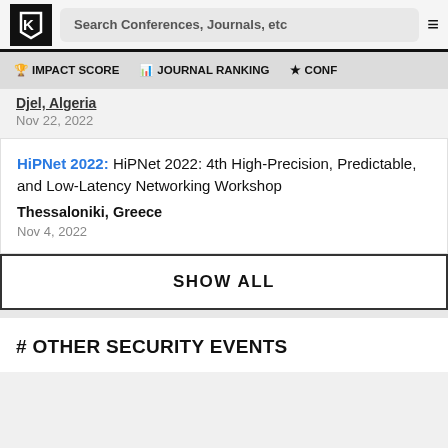Search Conferences, Journals, etc
IMPACT SCORE | JOURNAL RANKING | CONF...
Djel, Algeria
Nov 22, 2022
HiPNet 2022: HiPNet 2022: 4th High-Precision, Predictable, and Low-Latency Networking Workshop
Thessaloniki, Greece
Nov 4, 2022
SHOW ALL
# OTHER SECURITY EVENTS